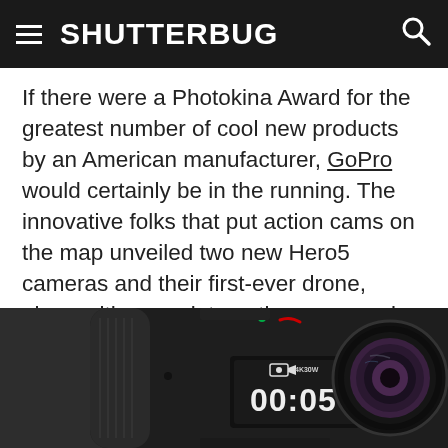SHUTTERBUG
If there were a Photokina Award for the greatest number of cool new products by an American manufacturer, GoPro would certainly be in the running. The innovative folks that put action cams on the map unveiled two new Hero5 cameras and their first-ever drone, along with some interesting accessories.
[Figure (photo): Close-up photo of a GoPro Hero5 action camera showing the front display reading 00:05 with 4K30W indicator, and the camera lens on the right side]